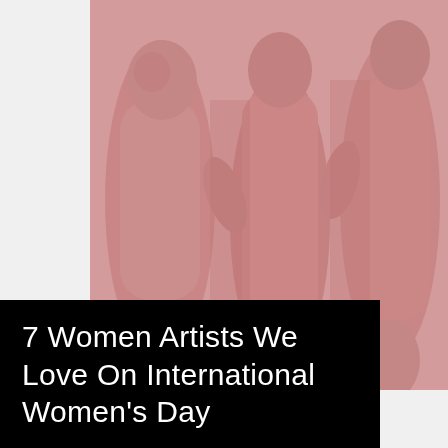[Figure (photo): Pink-toned photograph of classical female sculptures (Three Graces style), showing three nude female figures in close grouping against a soft pink/dusty rose background. The sculptures have a salmon/rose color cast.]
7 Women Artists We Love On International Women's Day